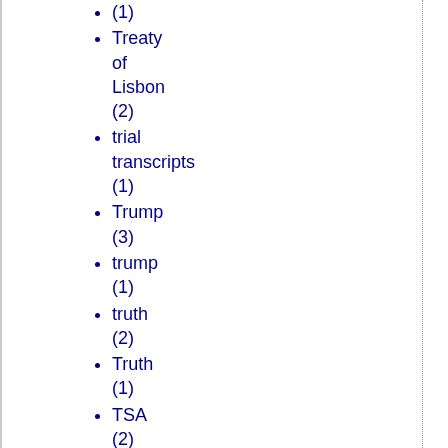(1)
Treaty of Lisbon (2)
trial transcripts (1)
Trump (3)
trump (1)
truth (2)
Truth (1)
TSA (2)
Tucson shooting (1)
Turkey (1)
Turkish Empire (1)